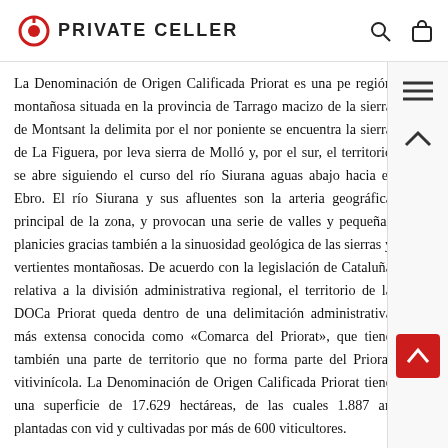PRIVATE CELLER
La Denominación de Origen Calificada Priorat es una pe región montañosa situada en la provincia de Tarrago macizo de la sierra de Montsant la delimita por el nor poniente se encuentra la sierra de La Figuera, por leva sierra de Molló y, por el sur, el territorio se abre siguiendo el curso del río Siurana aguas abajo hacia el Ebro. El río Siurana y sus afluentes son la arteria geográfica principal de la zona, y provocan una serie de valles y pequeñas planicies gracias también a la sinuosidad geológica de las sierras y vertientes montañosas. De acuerdo con la legislación de Cataluña relativa a la división administrativa regional, el territorio de la DOCa Priorat queda dentro de una delimitación administrativa más extensa conocida como «Comarca del Priorat», que tiene también una parte de territorio que no forma parte del Priorat vitivinícola. La Denominación de Origen Calificada Priorat tiene una superficie de 17.629 hectáreas, de las cuales 1.887 an plantadas con vid y cultivadas por más de 600 viticultores.